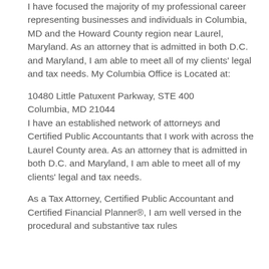I have focused the majority of my professional career representing businesses and individuals in Columbia, MD and the Howard County region near Laurel, Maryland. As an attorney that is admitted in both D.C. and Maryland, I am able to meet all of my clients' legal and tax needs. My Columbia Office is Located at:
10480 Little Patuxent Parkway, STE 400
Columbia, MD 21044
I have an established network of attorneys and Certified Public Accountants that I work with across the Laurel County area. As an attorney that is admitted in both D.C. and Maryland, I am able to meet all of my clients' legal and tax needs.
As a Tax Attorney, Certified Public Accountant and Certified Financial Planner®, I am well versed in the procedural and substantive tax rules